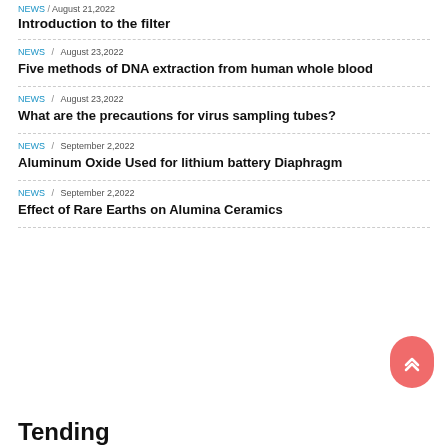NEWS / August 21,2022
Introduction to the filter
NEWS / August 23,2022
Five methods of DNA extraction from human whole blood
NEWS / August 23,2022
What are the precautions for virus sampling tubes?
NEWS / September 2,2022
Aluminum Oxide Used for lithium battery Diaphragm
NEWS / September 2,2022
Effect of Rare Earths on Alumina Ceramics
Tending